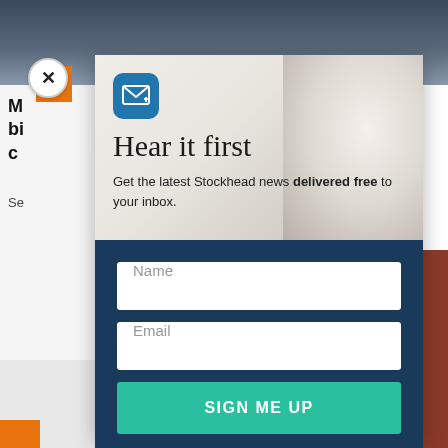[Figure (screenshot): Website screenshot showing a newsletter signup modal overlay on a news article page. The modal has a light top section with 'Hear it first' heading and email icon, and a dark navy bottom section with Name and Email input fields and a teal 'SIGN ME UP' button. A close (X) button is visible in the top left.]
Hear it first
Get the latest Stockhead news delivered free to your inbox.
Name
Email
SIGN ME UP